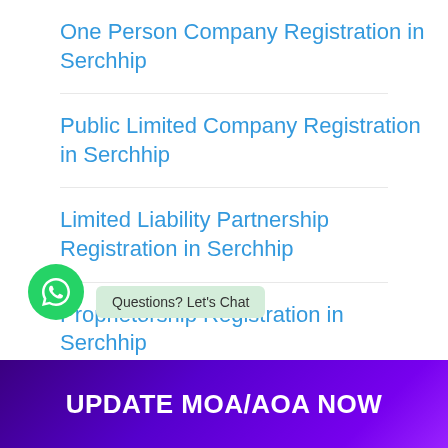One Person Company Registration in Serchhip
Public Limited Company Registration in Serchhip
Limited Liability Partnership Registration in Serchhip
Proprietorship Registration in Serchhip
Partnership Registration in Serchhip
UPDATE MOA/AOA NOW